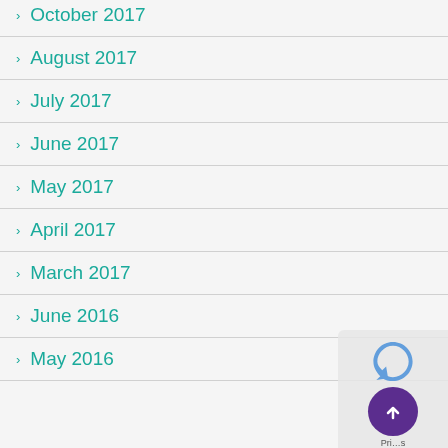October 2017
August 2017
July 2017
June 2017
May 2017
April 2017
March 2017
June 2016
May 2016